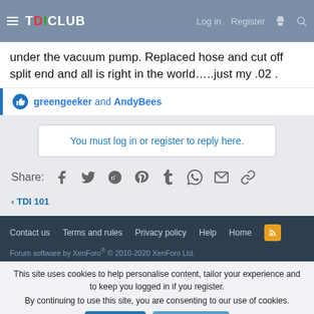TDICLUB — Log in  Register
under the vacuum pump. Replaced hose and cut off split end and all is right in the world…..just my .02 .
👍 greengeeker and AndyBees
You must log in or register to reply here.
Share: [social icons]
< TDI 101
Contact us  Terms and rules  Privacy policy  Help  Home  [RSS]
Forum software by XenForo® © 2010-2020 XenForo Ltd.
This site uses cookies to help personalise content, tailor your experience and to keep you logged in if you register. By continuing to use this site, you are consenting to our use of cookies.
✓ Accept   Learn more...